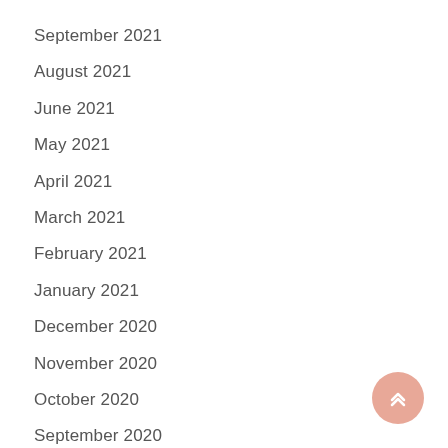September 2021
August 2021
June 2021
May 2021
April 2021
March 2021
February 2021
January 2021
December 2020
November 2020
October 2020
September 2020
July 2020